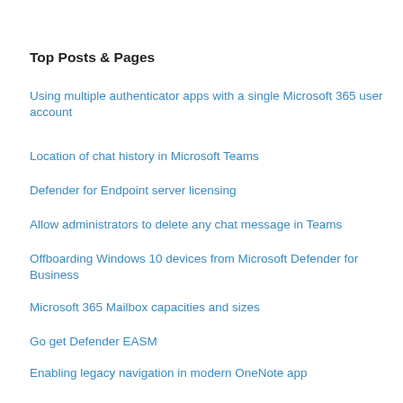Top Posts & Pages
Using multiple authenticator apps with a single Microsoft 365 user account
Location of chat history in Microsoft Teams
Defender for Endpoint server licensing
Allow administrators to delete any chat message in Teams
Offboarding Windows 10 devices from Microsoft Defender for Business
Microsoft 365 Mailbox capacities and sizes
Go get Defender EASM
Enabling legacy navigation in modern OneNote app
Microsoft Secure Score should be your security benchmark
Determining the time Office 365 ATP takes to scan an attachment